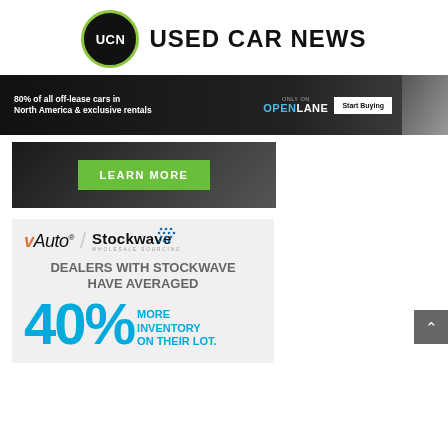[Figure (logo): UCN Used Car News logo with black circle and green border, 'UCN' text in white, and 'USED CAR NEWS' in bold black text]
[Figure (infographic): OpenLane advertisement banner: '80% of all off-lease cars in North America & exclusive rentals - ONLY ON OPENLANE - Start Buying' with dark car image]
[Figure (infographic): Dark racing car advertisement banner with green 'LEARN MORE' button]
[Figure (infographic): vAuto / Stockwave Wholesale Sourcing advertisement: 'DEALERS WITH STOCKWAVE HAVE AVERAGED 40% MORE INVENTORY ON THEIR LOT.']